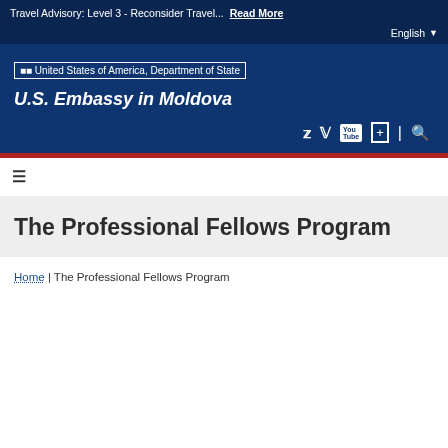Travel Advisory: Level 3 - Reconsider Travel... Read More   English ▼
[Figure (logo): United States of America, Department of State logo with text]
U.S. Embassy in Moldova
The Professional Fellows Program
Home | The Professional Fellows Program